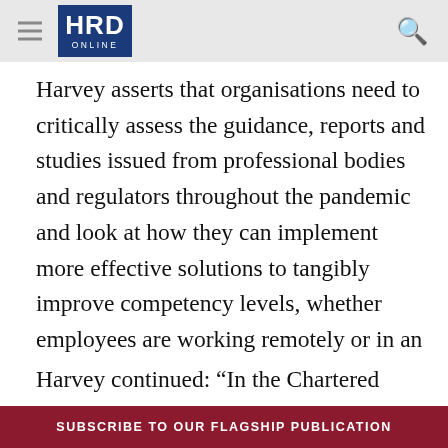HRD ONLINE
Harvey asserts that organisations need to critically assess the guidance, reports and studies issued from professional bodies and regulators throughout the pandemic and look at how they can implement more effective solutions to tangibly improve competency levels, whether employees are working remotely or in an office environment.
Harvey continued: “In the Chartered
SUBSCRIBE TO OUR FLAGSHIP PUBLICATION